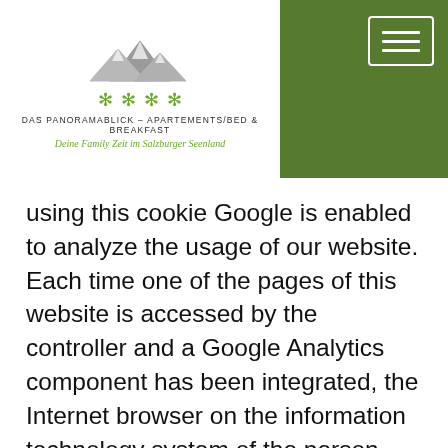[Figure (logo): Das Panoramablick Apartements/Bed & Breakfast logo with mountain graphic, green snowflake stars, text title and italic green subtitle]
using this cookie Google is enabled to analyze the usage of our website. Each time one of the pages of this website is accessed by the controller and a Google Analytics component has been integrated, the Internet browser on the information technology system of the person concerned is automatically initiated by the respective Google Analytics component to submit data to Google for online analysis purposes. As part of this technical process, Google will be aware of personal data, such as the IP address of the person concerned, which serve, among other things, Google to track the origin of the